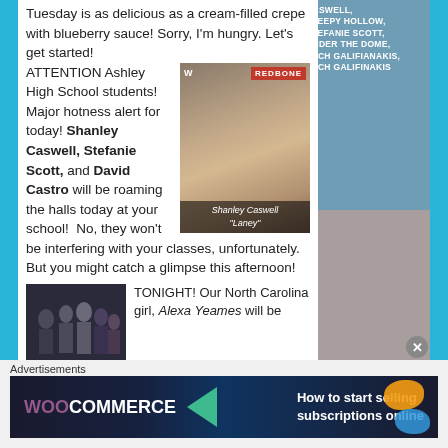Tuesday is as delicious as a cream-filled crepe with blueberry sauce! Sorry, I'm hungry. Let's get started!
ATTENTION Ashley High School students! Major hotness alert for today! Shanley Caswell, Stefanie Scott, and David Castro will be roaming the halls today at your school! No, they won't be interfering with your classes, unfortunately. But you might catch a glimpse this afternoon!
[Figure (photo): Photo of Shanley Caswell labeled 'Laney', with REDBONE watermark]
[Figure (photo): Group photo of TV show cast]
TONIGHT! Our North Carolina girl, Alexa Yeames will be
CASWELL, SLEEPY HOLLOW, STEFANIE SCOTT, UNDER THE DOME, ZACH GALIFIANAKIS, ZACH GALIFINAKIS
Advertisements
[Figure (screenshot): WooCommerce advertisement banner: How to start selling subscriptions online]